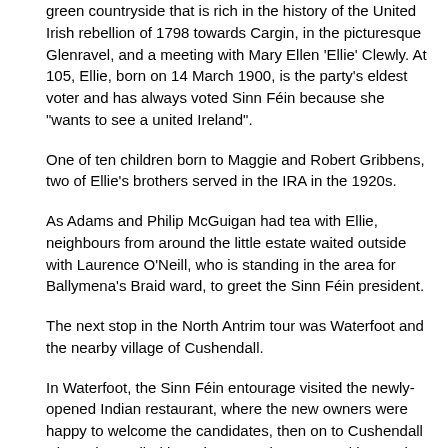green countryside that is rich in the history of the United Irish rebellion of 1798 towards Cargin, in the picturesque Glenravel, and a meeting with Mary Ellen 'Ellie' Clewly. At 105, Ellie, born on 14 March 1900, is the party's eldest voter and has always voted Sinn Féin because she "wants to see a united Ireland".
One of ten children born to Maggie and Robert Gribbens, two of Ellie's brothers served in the IRA in the 1920s.
As Adams and Philip McGuigan had tea with Ellie, neighbours from around the little estate waited outside with Laurence O'Neill, who is standing in the area for Ballymena's Braid ward, to greet the Sinn Féin president.
The next stop in the North Antrim tour was Waterfoot and the nearby village of Cushendall.
In Waterfoot, the Sinn Féin entourage visited the newly-opened Indian restaurant, where the new owners were happy to welcome the candidates, then on to Cushendall where they called in to the Central Bar, owned by Moyle candidate Oliver McMullan.
Next door, in the pub owned by Antrim hurling great Terence 'Sambo' McNaughton, the walls, adorned with hurling memorabilia and photos of hurling action, had on display a signed photo of the Sinn Féin leader in one of his greatest sporting moments. A poc fada devotee, the photo captured Adams in one of those rare moments when he actually got camán on sliotar, sending it 20 or so metres through the air.